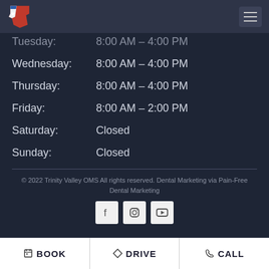[Figure (logo): Trinity Valley OMS Texas state logo with red, white, blue colors]
Tuesday: 8:00 AM – 4:00 PM
Wednesday: 8:00 AM – 4:00 PM
Thursday: 8:00 AM – 4:00 PM
Friday: 8:00 AM – 2:00 PM
Saturday: Closed
Sunday: Closed
© 2022 Trinity Valley OMS All rights reserved. Dental Marketing via Pain-Free Dental Marketing
[Figure (illustration): Social media icons: Facebook, Instagram, YouTube]
BOOK  DRIVE  CALL